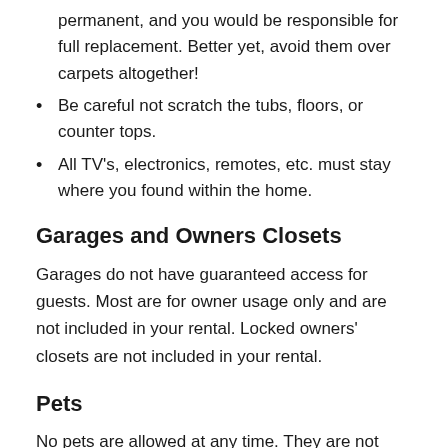permanent, and you would be responsible for full replacement. Better yet, avoid them over carpets altogether!
Be careful not scratch the tubs, floors, or counter tops.
All TV's, electronics, remotes, etc. must stay where you found within the home.
Garages and Owners Closets
Garages do not have guaranteed access for guests. Most are for owner usage only and are not included in your rental. Locked owners’ closets are not included in your rental.
Pets
No pets are allowed at any time. They are not allowed by